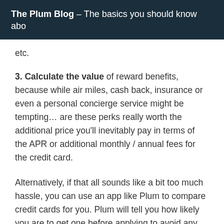The Plum Blog – The basics you should know abo
etc.
3. Calculate the value of reward benefits, because while air miles, cash back, insurance or even a personal concierge service might be tempting… are these perks really worth the additional price you'll inevitably pay in terms of the APR or additional monthly / annual fees for the credit card.
Alternatively, if that all sounds like a bit too much hassle, you can use an app like Plum to compare credit cards for you. Plum will tell you how likely you are to get one before applying to avoid any